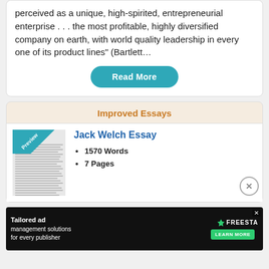perceived as a unique, high-spirited, entrepreneurial enterprise . . . the most profitable, highly diversified company on earth, with world quality leadership in every one of its product lines" (Bartlett…
Read More
Improved Essays
Jack Welch Essay
1570 Words
7 Pages
[Figure (other): Advertisement banner: Tailored ad management solutions for every publisher - FREESTA LEARN MORE]
Tailored ad management solutions for every publisher